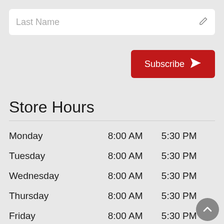Last Name
[Figure (other): Subscribe button with send/paper-plane icon]
Store Hours
| Day | Open | Close |
| --- | --- | --- |
| Monday | 8:00 AM | 5:30 PM |
| Tuesday | 8:00 AM | 5:30 PM |
| Wednesday | 8:00 AM | 5:30 PM |
| Thursday | 8:00 AM | 5:30 PM |
| Friday | 8:00 AM | 5:30 PM |
| Saturday | 9:00 AM | 4:00 PM |
| Sunday | CLOSED | CLOSED |